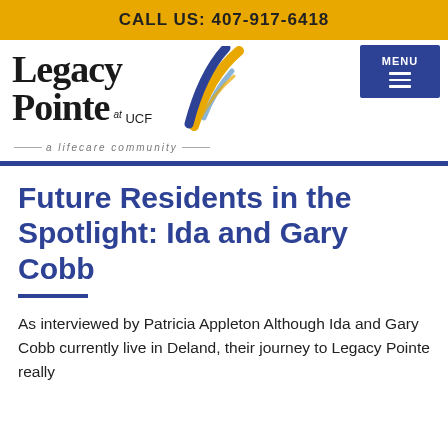CALL US: 407-917-6418
[Figure (logo): Legacy Pointe at UCF logo with stylized bird graphic and tagline 'a lifecare community']
Future Residents in the Spotlight: Ida and Gary Cobb
As interviewed by Patricia Appleton Although Ida and Gary Cobb currently live in Deland, their journey to Legacy Pointe really